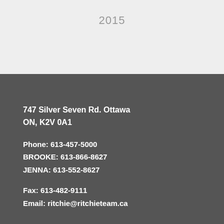2015
747 Silver Seven Rd. Ottawa
ON, K2V 0A1
Phone: 613-457-5000
BROOKE: 613-866-8627
JENNA: 613-552-8627
Fax: 613-482-9111
Email: ritchie@ritchieteam.ca